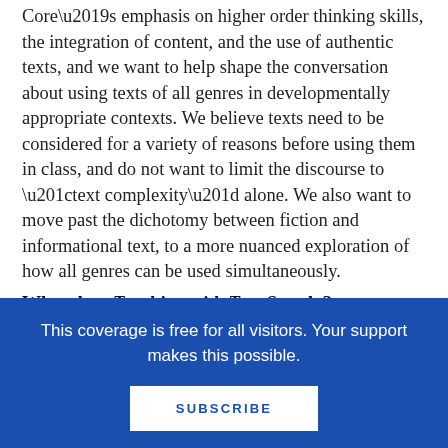Core's emphasis on higher order thinking skills, the integration of content, and the use of authentic texts, and we want to help shape the conversation about using texts of all genres in developmentally appropriate contexts. We believe texts need to be considered for a variety of reasons before using them in class, and do not want to limit the discourse to “text complexity” alone. We also want to move past the dichotomy between fiction and informational text, to a more nuanced exploration of how all genres can be used simultaneously.
What does Teaching with Text Sets do?
This coverage is free for all visitors. Your support makes this possible.
SUBSCRIBE